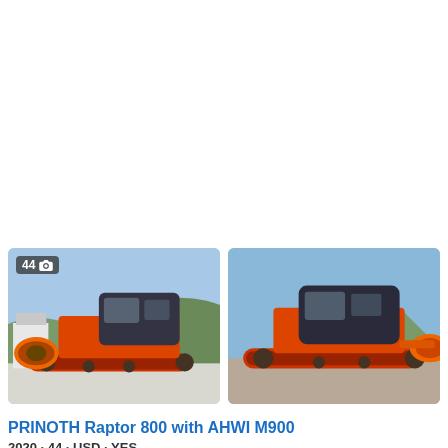[Figure (photo): Photo of PRINOTH Raptor 800 with AHWI M900 forestry mulcher, orange tracked machine with dark cab, left side view, outdoor setting with mountains and snow in background. Badge showing 44 photos.]
[Figure (photo): Photo of PRINOTH Raptor 800 with AHWI M900 forestry mulcher, orange tracked machine with dark cab, right/front closer view, outdoor setting with mountains and blue sky in background.]
PRINOTH Raptor 800 with AHWI M900
2020 · 44 · USD · YES